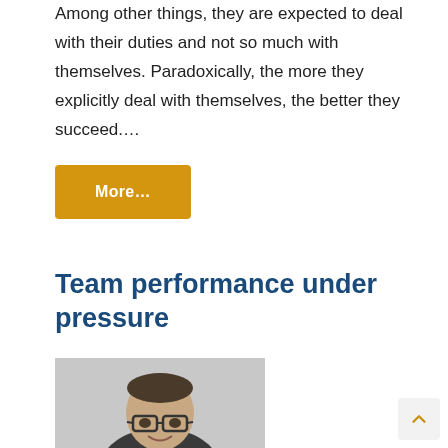Among other things, they are expected to deal with their duties and not so much with themselves. Paradoxically, the more they explicitly deal with themselves, the better they succeed.…
More…
Team performance under pressure
[Figure (photo): Portrait photo of a middle-aged man with glasses, short dark hair, wearing a dark shirt, smiling, against a light gray background.]